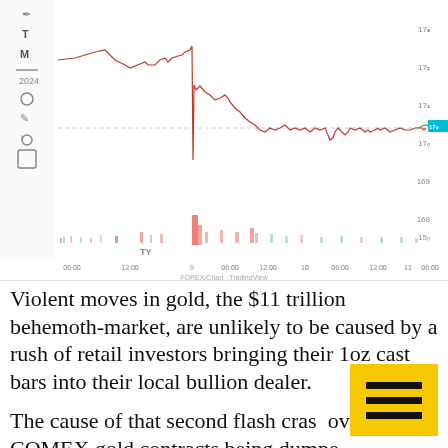[Figure (continuous-plot): Intraday gold price chart (COMEX) showing a sharp price drop and volatile trading across multiple sessions. Candlestick/line chart with volume bars at bottom. Y-axis shows price levels ~1500-1750. X-axis shows times from 06:00 through 06:30 across multiple days. A large red volume spike is visible around the '9' time marker corresponding to a flash crash.]
Violent moves in gold, the $11 trillion behemoth-market, are unlikely to be caused by a rush of retail investors bringing their 1oz cast bars into their local bullion dealer.
The cause of that second flash crash over $4b of COMEX gold contracts being dumped